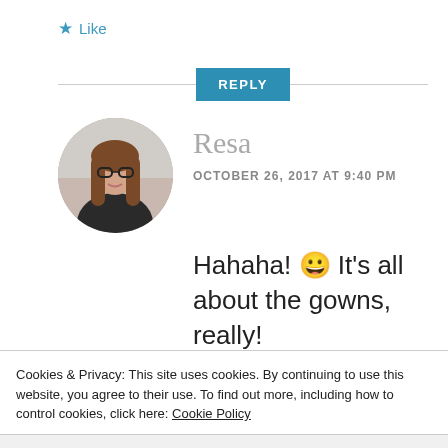★ Like
REPLY
[Figure (photo): Circular profile photo of a young woman with long brown hair and glasses.]
Resa
OCTOBER 26, 2017 AT 9:40 PM
Hahaha! 😀 It's all about the gowns, really!
Cookies & Privacy: This site uses cookies. By continuing to use this website, you agree to their use. To find out more, including how to control cookies, click here: Cookie Policy
Accept & Close
OCTOBER 28, 2017 AT 12:03